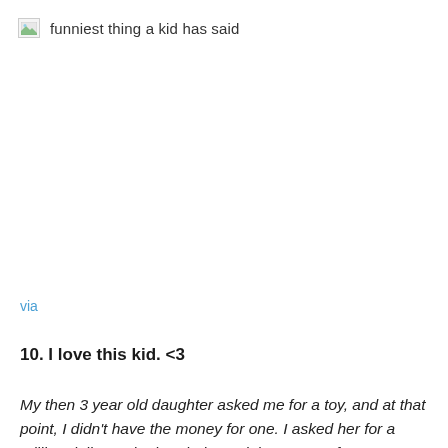funniest thing a kid has said
[Figure (photo): Broken/missing image placeholder icon]
via
10. I love this kid. <3
My then 3 year old daughter asked me for a toy, and at that point, I didn't have the money for one. I asked her for a million dollars. She handed me eight quarters from our